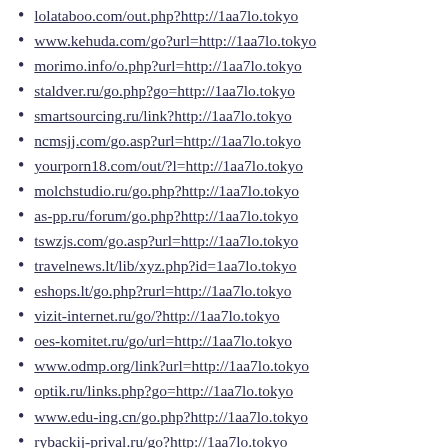lolataboo.com/out.php?http://1aa7lo.tokyo
www.kehuda.com/go?url=http://1aa7lo.tokyo
morimo.info/o.php?url=http://1aa7lo.tokyo
staldver.ru/go.php?go=http://1aa7lo.tokyo
smartsourcing.ru/link?http://1aa7lo.tokyo
ncmsjj.com/go.asp?url=http://1aa7lo.tokyo
yourporn18.com/out/?l=http://1aa7lo.tokyo
molchstudio.ru/go.php?http://1aa7lo.tokyo
as-pp.ru/forum/go.php?http://1aa7lo.tokyo
tswzjs.com/go.asp?url=http://1aa7lo.tokyo
travelnews.lt/lib/xyz.php?id=1aa7lo.tokyo
eshops.lt/go.php?rurl=http://1aa7lo.tokyo
vizit-internet.ru/go/?http://1aa7lo.tokyo
oes-komitet.ru/go/url=http://1aa7lo.tokyo
www.odmp.org/link?url=http://1aa7lo.tokyo
optik.ru/links.php?go=http://1aa7lo.tokyo
www.edu-ing.cn/go.php?http://1aa7lo.tokyo
rybackij-prival.ru/go?http://1aa7lo.tokyo
www.storyme.app/?exit=http://1aa7lo.tokyo